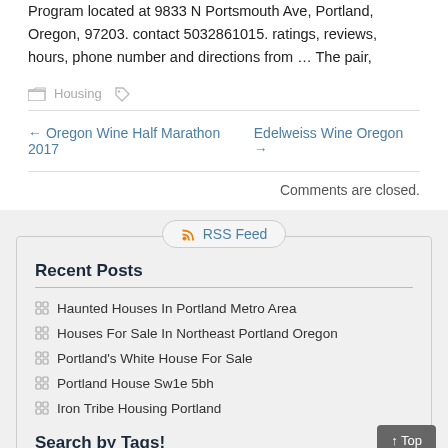Program located at 9833 N Portsmouth Ave, Portland, Oregon, 97203. contact 5032861015. ratings, reviews, hours, phone number and directions from … The pair,
Housing
← Oregon Wine Half Marathon 2017   Edelweiss Wine Oregon →
Comments are closed.
RSS Feed
Recent Posts
Haunted Houses In Portland Metro Area
Houses For Sale In Northeast Portland Oregon
Portland's White House For Sale
Portland House Sw1e 5bh
Iron Tribe Housing Portland
Search by Tags!